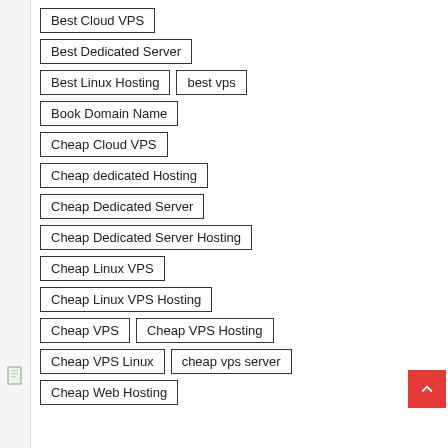Best Cloud VPS
Best Dedicated Server
Best Linux Hosting
best vps
Book Domain Name
Cheap Cloud VPS
Cheap dedicated Hosting
Cheap Dedicated Server
Cheap Dedicated Server Hosting
Cheap Linux VPS
Cheap Linux VPS Hosting
Cheap VPS
Cheap VPS Hosting
Cheap VPS Linux
cheap vps server
Cheap Web Hosting